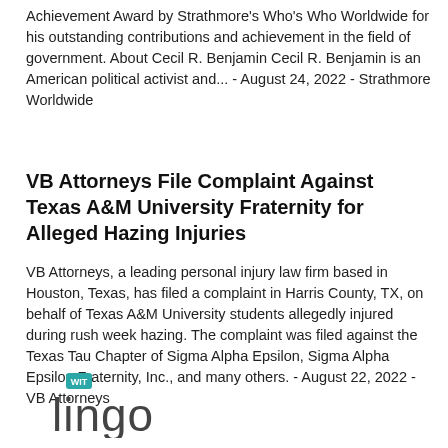Achievement Award by Strathmore's Who's Who Worldwide for his outstanding contributions and achievement in the field of government. About Cecil R. Benjamin Cecil R. Benjamin is an American political activist and... - August 24, 2022 - Strathmore Worldwide
VB Attorneys File Complaint Against Texas A&M University Fraternity for Alleged Hazing Injuries
VB Attorneys, a leading personal injury law firm based in Houston, Texas, has filed a complaint in Harris County, TX, on behalf of Texas A&M University students allegedly injured during rush week hazing. The complaint was filed against the Texas Tau Chapter of Sigma Alpha Epsilon, Sigma Alpha Epsilon Fraternity, Inc., and many others. - August 22, 2022 - VB Attorneys
[Figure (logo): WIT Lingo logo — teal 'WIT' badge above stylized 'lingo' text in grey]